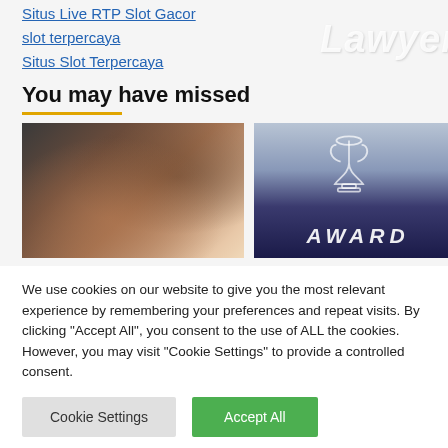Situs Live RTP Slot Gacor
slot terpercaya
Situs Slot Terpercaya
You may have missed
[Figure (photo): A person in dark clothing writing or signing documents on a desk, hands visible with a watch]
[Figure (photo): Award graphic with trophy icon and the word AWARD in large italic letters on a dark navy blue banner background]
We use cookies on our website to give you the most relevant experience by remembering your preferences and repeat visits. By clicking "Accept All", you consent to the use of ALL the cookies. However, you may visit "Cookie Settings" to provide a controlled consent.
Cookie Settings | Accept All